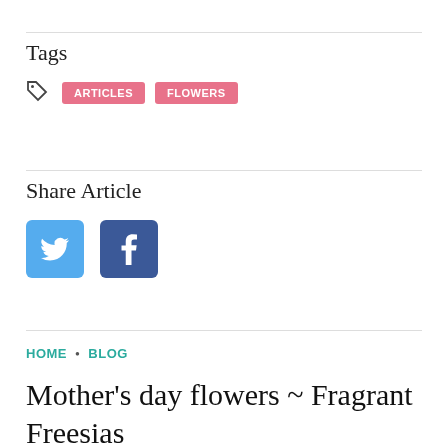Tags
ARTICLES  FLOWERS
Share Article
[Figure (other): Twitter and Facebook share buttons]
HOME • BLOG
Mother's day flowers ~ Fragrant Freesias